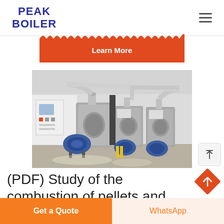PEAK BOILER
Learn More
[Figure (photo): Industrial boiler room with multiple large cylindrical boilers, blue fan units at the front, white pipes, control panels on white walls, concrete floor]
(PDF) Study of the combustion of pellets and RDF in a
Get a Quote
WhatsApp